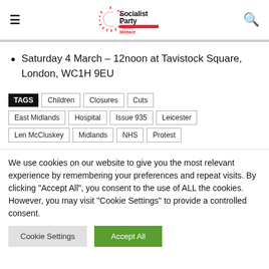[Figure (logo): Socialist Party logo with red sunburst, black text 'Socialist Party' and red 'Formerly Militant' subtitle]
Saturday 4 March – 12noon at Tavistock Square, London, WC1H 9EU
TAGS  Children  Closures  Cuts  East Midlands  Hospital  Issue 935  Leicester  Len McCluskey  Midlands  NHS  Protest
We use cookies on our website to give you the most relevant experience by remembering your preferences and repeat visits. By clicking "Accept All", you consent to the use of ALL the cookies. However, you may visit "Cookie Settings" to provide a controlled consent.